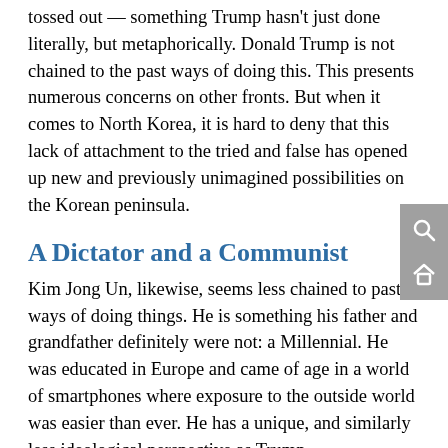tossed out — something Trump hasn't just done literally, but metaphorically. Donald Trump is not chained to the past ways of doing this. This presents numerous concerns on other fronts. But when it comes to North Korea, it is hard to deny that this lack of attachment to the tried and false has opened up new and previously unimagined possibilities on the Korean peninsula.
A Dictator and a Communist
Kim Jong Un, likewise, seems less chained to past ways of doing things. He is something his father and grandfather definitely were not: a Millennial. He was educated in Europe and came of age in a world of smartphones where exposure to the outside world was easier than ever. He has a unique, and similarly less ideological perspective as Trump.
I am under no illusions — he's an evil man presiding over...